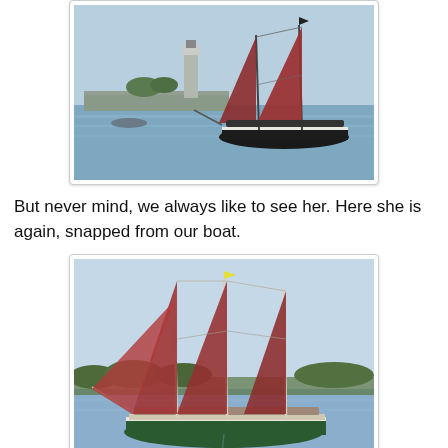[Figure (photo): Sailing schooner with dark red sails on water near a lighthouse, viewed from shore level. Many passengers visible on deck.]
But never mind, we always like to see her. Here she is again, snapped from our boat.
[Figure (photo): The same sailing schooner with red sails photographed closer up from another boat. Three masts with large rust-red sails fully deployed, green hull with white trim, passengers on deck, trees visible in background.]